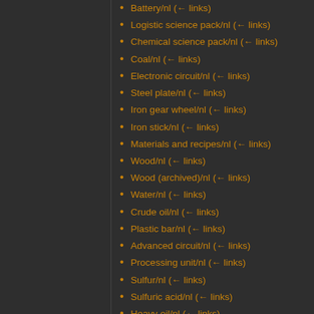Battery/nl  (← links)
Logistic science pack/nl  (← links)
Chemical science pack/nl  (← links)
Coal/nl  (← links)
Electronic circuit/nl  (← links)
Steel plate/nl  (← links)
Iron gear wheel/nl  (← links)
Iron stick/nl  (← links)
Materials and recipes/nl  (← links)
Wood/nl  (← links)
Wood (archived)/nl  (← links)
Water/nl  (← links)
Crude oil/nl  (← links)
Plastic bar/nl  (← links)
Advanced circuit/nl  (← links)
Processing unit/nl  (← links)
Sulfur/nl  (← links)
Sulfuric acid/nl  (← links)
Heavy oil/nl  (← links)